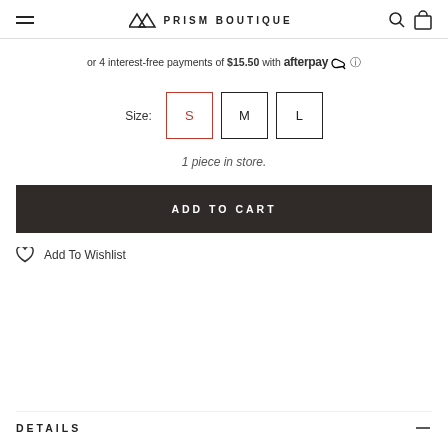PRISM BOUTIQUE — navigation header with hamburger menu, logo, search and cart icons
or 4 interest-free payments of $15.50 with afterpay
Size: S M L
1 piece in store.
ADD TO CART
Add To Wishlist
DETAILS